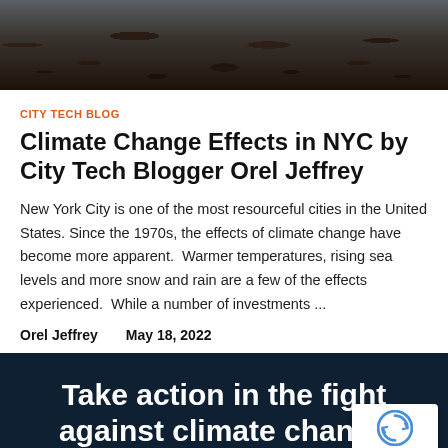[Figure (photo): Dark rocky coastline with ocean waves, top portion of the image]
CITY TECH BLOG
Climate Change Effects in NYC by City Tech Blogger Orel Jeffrey
New York City is one of the most resourceful cities in the United States. Since the 1970s, the effects of climate change have become more apparent.  Warmer temperatures, rising sea levels and more snow and rain are a few of the effects experienced.  While a number of investments ...
Orel Jeffrey    May 18, 2022
Take action in the fight against climate change